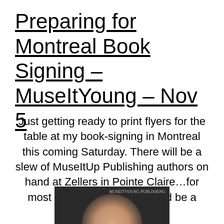Preparing for Montreal Book Signing – MuseItYoung – Nov 5
Just getting ready to print flyers for the table at my book-signing in Montreal this coming Saturday. There will be a slew of MuseItUp Publishing authors on hand at Zellers in Pointe Claire…for most of the afternoon. Should be a great event!
[Figure (photo): Partial photo showing a person's hand with a ring, with 'MuseItYoung Publishing' text overlay in the upper right area of the image]